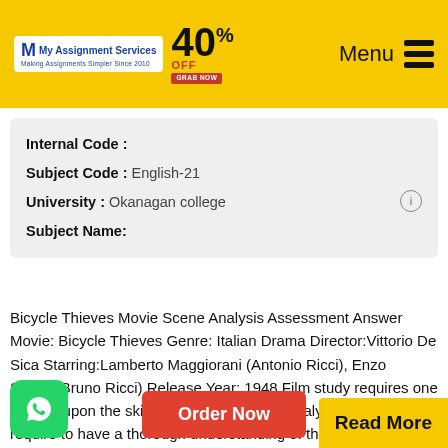[Figure (logo): My Assignment Services logo with 40% OFF offer and Menu navigation in yellow header bar]
| Internal Code : |  |
| Subject Code : | English-21 |
| University : | Okanagan college |
| Subject Name: |  |
Bicycle Thieves Movie Scene Analysis Assessment Answer Movie: Bicycle Thieves Genre: Italian Drama Director:Vittorio De Sica Starring:Lamberto Maggiorani (Antonio Ricci), Enzo Staiola(Bruno Ricci) Release Year: 1948 Film study requires one to build upon the skills in analysis. Scene analysis does not only require to have a thorough understanding of the scene one chooses to explore but also needs to have a thorough exploration o...